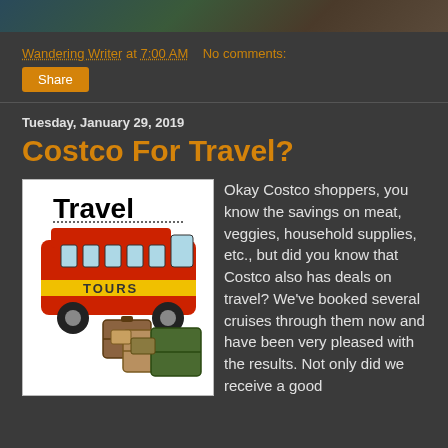[Figure (photo): Top banner image, partial view of a scenic photo with dark tones]
Wandering Writer at 7:00 AM   No comments:
Share
Tuesday, January 29, 2019
Costco For Travel?
[Figure (illustration): Clipart image of a red and yellow tour bus with luggage, labeled 'Travel TOURS']
Okay Costco shoppers, you know the savings on meat, veggies, household supplies, etc., but did you know that Costco also has deals on travel? We've booked several cruises through them now and have been very pleased with the results. Not only did we receive a good